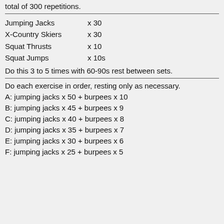total of 300 repetitions.
Jumping Jacks   x 30
X-Country Skiers   x 30
Squat Thrusts   x 10
Squat Jumps   x 10s
Do this 3 to 5 times with 60-90s rest between sets.
Do each exercise in order, resting only as necessary.
A: jumping jacks x 50 + burpees x 10
B: jumping jacks x 45 + burpees x 9
C: jumping jacks x 40 + burpees x 8
D: jumping jacks x 35 + burpees x 7
E: jumping jacks x 30 + burpees x 6
F: jumping jacks x 25 + burpees x 5